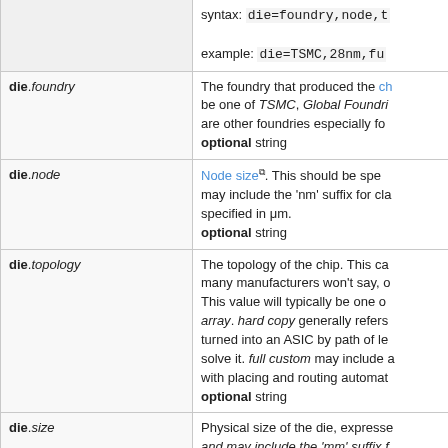| Parameter | Description |
| --- | --- |
|  | syntax: die=foundry,node,t... example: die=TSMC,28nm,fu... |
| die.foundry | The foundry that produced the ch... be one of TSMC, Global Foundri... are other foundries especially fo... optional string |
| die.node | Node size. This should be spe... may include the 'nm' suffix for cla... specified in μm. optional string |
| die.topology | The topology of the chip. This ca... many manufacturers won't say, o... This value will typically be one of... array. hard copy generally refers ... turned into an ASIC by path of lea... solve it. full custom may include a... with placing and routing automat... optional string |
| die.size | Physical size of the die, expresse... and may include the 'mm' suffix f... optional dimensions string |
| package | Details of the package used fo... optional multiple value paramete... |